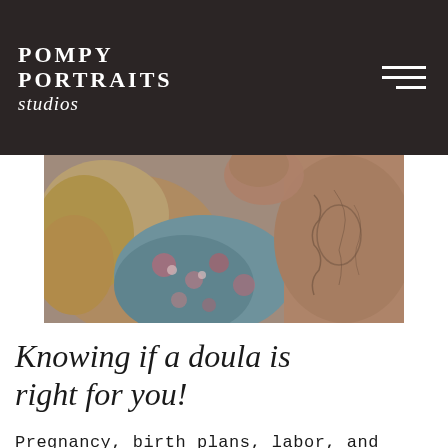POMPY PORTRAITS studios
[Figure (photo): A close-up photo of a pregnant woman in a floral dress being embraced by a man with tattoos on his torso.]
Knowing if a doula is right for you!
Pregnancy, birth plans, labor, and delivery are all such intimate and personal matters that no one can